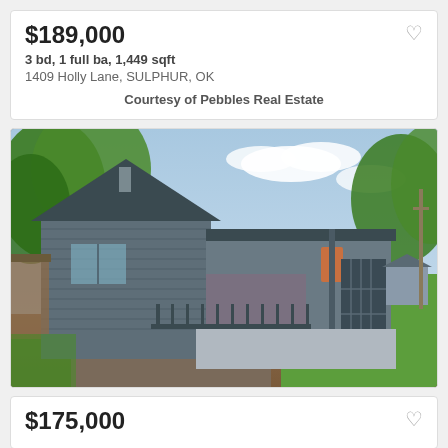$189,000
3 bd, 1 full ba, 1,449 sqft
1409 Holly Lane, SULPHUR, OK
Courtesy of Pebbles Real Estate
[Figure (photo): Exterior photo of a gray ranch-style house with covered porch, number 103 on post, green lawn, trees in background]
$175,000